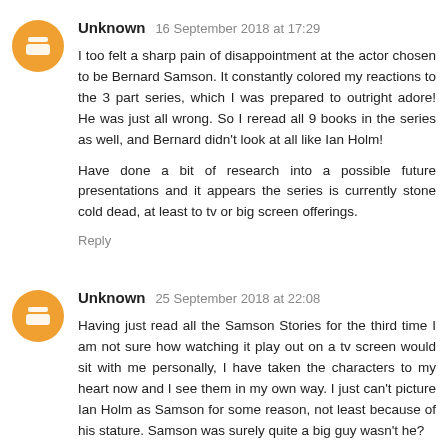Unknown  16 September 2018 at 17:29
I too felt a sharp pain of disappointment at the actor chosen to be Bernard Samson. It constantly colored my reactions to the 3 part series, which I was prepared to outright adore! He was just all wrong. So I reread all 9 books in the series as well, and Bernard didn't look at all like Ian Holm!

Have done a bit of research into a possible future presentations and it appears the series is currently stone cold dead, at least to tv or big screen offerings.
Reply
Unknown  25 September 2018 at 22:08
Having just read all the Samson Stories for the third time I am not sure how watching it play out on a tv screen would sit with me personally, I have taken the characters to my heart now and I see them in my own way. I just can't picture Ian Holm as Samson for some reason, not least because of his stature. Samson was surely quite a big guy wasn't he?